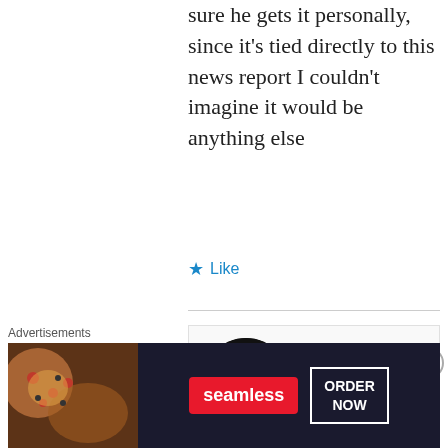sure he gets it personally, since it's tied directly to this news report I couldn't imagine it would be anything else
★ Like
stigmadiabol
22 SEPTEMBER, 2019 AT 9:50 AM
That's a good point, although
Advertisements
[Figure (screenshot): Seamless food delivery advertisement banner with pizza image, red Seamless logo badge, and white ORDER NOW button on dark background]